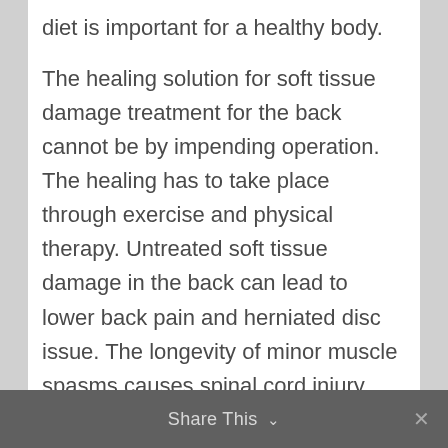diet is important for a healthy body.
The healing solution for soft tissue damage treatment for the back cannot be by impending operation. The healing has to take place through exercise and physical therapy. Untreated soft tissue damage in the back can lead to lower back pain and herniated disc issue. The longevity of minor muscle spasms causes spinal cord injury and other ailments.
Share This ∨  ×